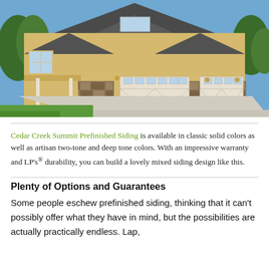[Figure (photo): Exterior photo of a large craftsman-style house with yellow/tan siding, stone facade, three-car garage with white carriage-style doors, and a concrete driveway.]
Cedar Creek Summit Prefinished Siding is available in classic solid colors as well as artisan two-tone and deep tone colors. With an impressive warranty and LP’s® durability, you can build a lovely mixed siding design like this.
Plenty of Options and Guarantees
Some people eschew prefinished siding, thinking that it can’t possibly offer what they have in mind, but the possibilities are actually practically endless. Lap,